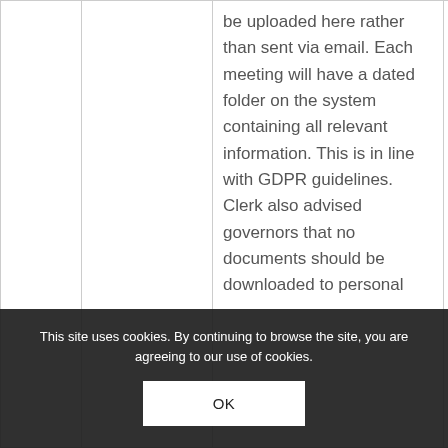|  |  | be uploaded here rather than sent via email. Each meeting will have a dated folder on the system containing all relevant information. This is in line with GDPR guidelines. Clerk also advised governors that no documents should be downloaded to personal |
This site uses cookies. By continuing to browse the site, you are agreeing to our use of cookies.